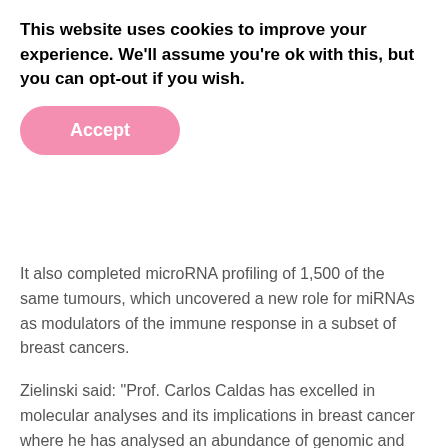This website uses cookies to improve your experience. We'll assume you're ok with this, but you can opt-out if you wish.
[Figure (other): Pink rounded 'Accept' button for cookie consent banner]
It also completed microRNA profiling of 1,500 of the same tumours, which uncovered a new role for miRNAs as modulators of the immune response in a subset of breast cancers.
Zielinski said: “Prof. Carlos Caldas has excelled in molecular analyses and its implications in breast cancer where he has analysed an abundance of genomic and transcriptomic landscapes leading to a vastly ameliorated insight into the biology of the disease. Besides having published almost 400 original contributions on the topic, his research achievements have been published in eminent journals.
On receiving the award, Caldas said: “ESMO is the